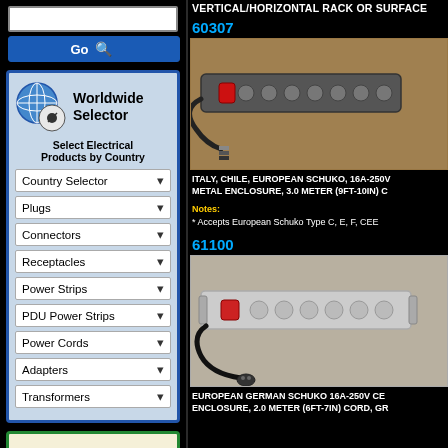VERTICAL/HORIZONTAL RACK OR SURFACE
60307
[Figure (photo): Dark gray metal power strip with multiple Schuko outlets and a red illuminated switch, with a black power cord ending in bare wires]
ITALY, CHILE, EUROPEAN SCHUKO, 16A-250V METAL ENCLOSURE, 3.0 METER (9FT-10IN) C Notes: * Accepts European Schuko Type C, E, F, CEE
61100
[Figure (photo): Light gray metal power strip with multiple Schuko outlets and a red illuminated switch, with a black power cord ending in a Schuko plug]
EUROPEAN GERMAN SCHUKO 16A-250V CE ENCLOSURE, 2.0 METER (6FT-7IN) CORD, GR